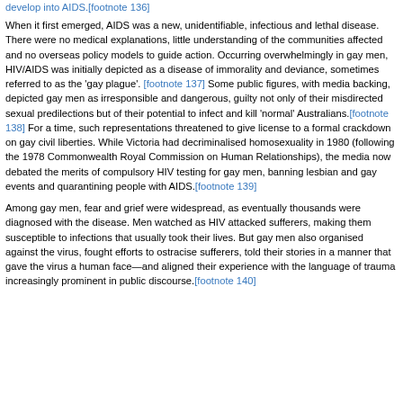develop into AIDS.[footnote 136]
When it first emerged, AIDS was a new, unidentifiable, infectious and lethal disease. There were no medical explanations, little understanding of the communities affected and no overseas policy models to guide action. Occurring overwhelmingly in gay men, HIV/AIDS was initially depicted as a disease of immorality and deviance, sometimes referred to as the 'gay plague'. [footnote 137] Some public figures, with media backing, depicted gay men as irresponsible and dangerous, guilty not only of their misdirected sexual predilections but of their potential to infect and kill 'normal' Australians.[footnote 138] For a time, such representations threatened to give license to a formal crackdown on gay civil liberties. While Victoria had decriminalised homosexuality in 1980 (following the 1978 Commonwealth Royal Commission on Human Relationships), the media now debated the merits of compulsory HIV testing for gay men, banning lesbian and gay events and quarantining people with AIDS.[footnote 139]
Among gay men, fear and grief were widespread, as eventually thousands were diagnosed with the disease. Men watched as HIV attacked sufferers, making them susceptible to infections that usually took their lives. But gay men also organised against the virus, fought efforts to ostracise sufferers, told their stories in a manner that gave the virus a human face—and aligned their experience with the language of trauma increasingly prominent in public discourse.[footnote 140]